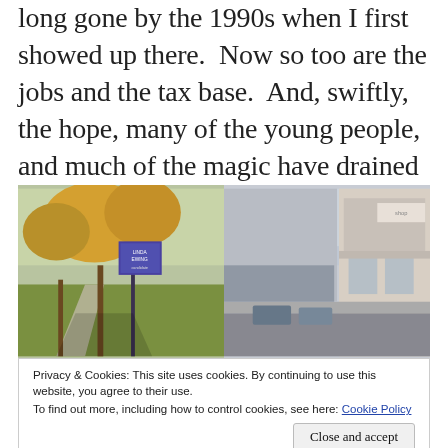long gone by the 1990s when I first showed up there.  Now so too are the jobs and the tax base.  And, swiftly, the hope, many of the young people, and much of the magic have drained from the region.
[Figure (photo): Two side-by-side outdoor photographs. Left: a park or street scene with autumn trees and a sign. Right: a small town commercial strip with storefronts and parked cars under an overcast sky.]
Privacy & Cookies: This site uses cookies. By continuing to use this website, you agree to their use.
To find out more, including how to control cookies, see here: Cookie Policy
Close and accept
But this is a story about finding hope in